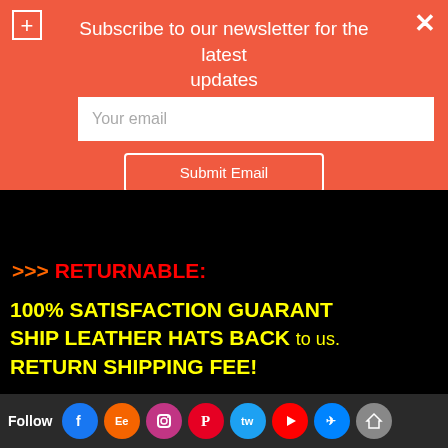Subscribe to our newsletter for the latest updates
Your email
Submit Email
>>> RETURNABLE:
100% SATISFACTION GUARANTEE SHIP LEATHER HATS BACK to us. RETURN SHIPPING FEE!
After shi... you back...
Follow [Facebook] [Etsy] [Instagram] [Pinterest] [Twitter] [YouTube] [Messenger] [Home]